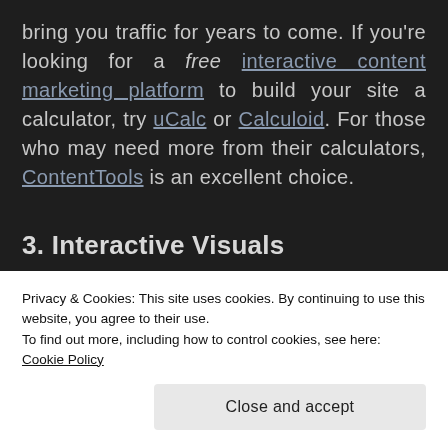bring you traffic for years to come. If you're looking for a free interactive content marketing platform to build your site a calculator, try uCalc or Calculoid. For those who may need more from their calculators, ContentTools is an excellent choice.
3. Interactive Visuals
Interactive visuals make it easier for people to
Privacy & Cookies: This site uses cookies. By continuing to use this website, you agree to their use.
To find out more, including how to control cookies, see here:
Cookie Policy
Close and accept
One really fun example that showed up in